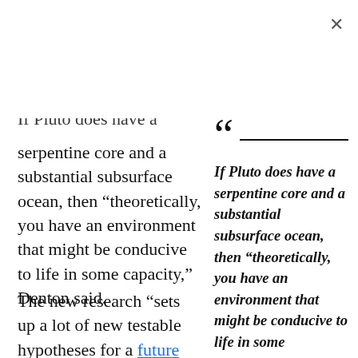If Pluto does have a serpentine core and a substantial subsurface ocean, then “theoretically, you have an environment that might be conducive to life in some capacity,” Denton said.
[Figure (other): Pull quote with opening quotation mark and horizontal rule, followed by bold italic text: 'If Pluto does have a serpentine core and a substantial subsurface ocean, then “theoretically, you have an environment that might be conducive to life in some capacity.”']
The new research “sets up a lot of new testable hypotheses for a future Pluto mission, which...